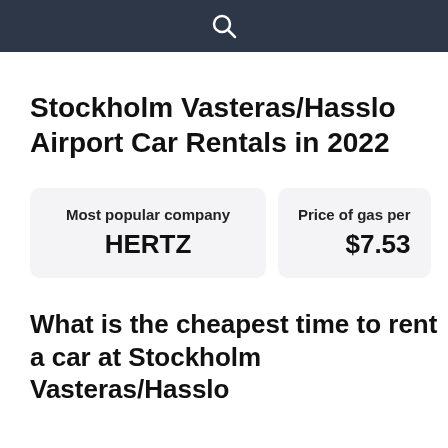[Figure (other): Dark navy search bar with a white magnifying glass search icon centered]
Stockholm Vasteras/Hasslo Airport Car Rentals in 2022
Most popular company
HERTZ
Price of gas per
$7.53
What is the cheapest time to rent a car at Stockholm Vasteras/Hasslo